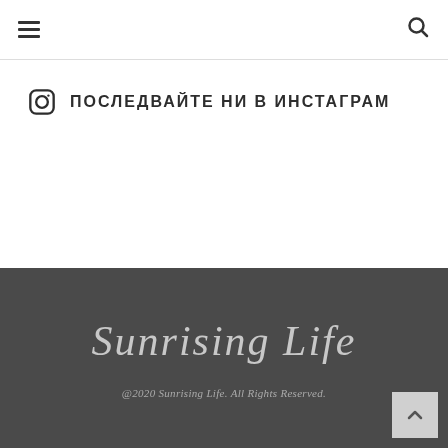☰  🔍
ПОСЛЕДВАЙТЕ НИ В ИНСТАГРАМ
[Figure (logo): Sunrising Life cursive script logo in light gray on dark background]
@2020 Sunrising Life. All Rights Reserved.